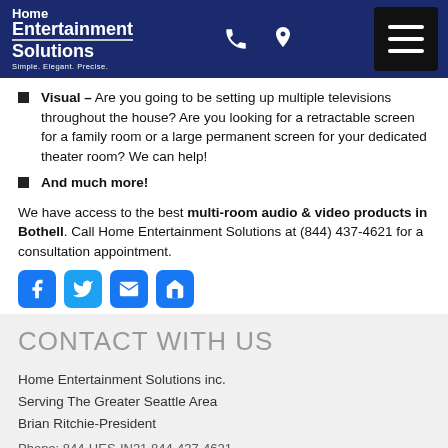Home Entertainment Solutions — Simple. Elegant. Precise.
Visual – Are you going to be setting up multiple televisions throughout the house? Are you looking for a retractable screen for a family room or a large permanent screen for your dedicated theater room? We can help!
And much more!
We have access to the best multi-room audio & video products in Bothell. Call Home Entertainment Solutions at (844) 437-4621 for a consultation appointment.
[Figure (logo): Social media icon buttons: Facebook, Twitter, Email/Envelope, Home]
CONTACT WITH US
Home Entertainment Solutions inc.
Serving The Greater Seattle Area
Brian Ritchie-President
Phone: 844-HES-IN21 844-437-4621